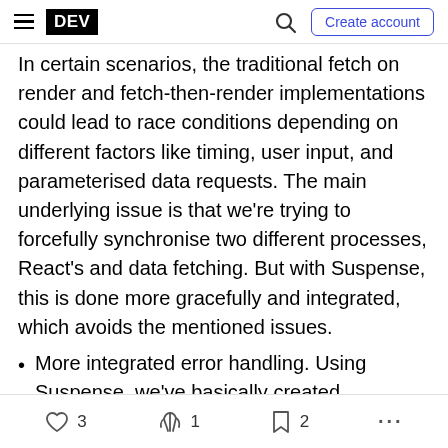DEV — Create account
In certain scenarios, the traditional fetch on render and fetch-then-render implementations could lead to race conditions depending on different factors like timing, user input, and parameterised data requests. The main underlying issue is that we're trying to forcefully synchronise two different processes, React's and data fetching. But with Suspense, this is done more gracefully and integrated, which avoids the mentioned issues.
More integrated error handling. Using Suspense, we've basically created boundaries for data request flows. On top of that, because Suspense
3  1  2  ...